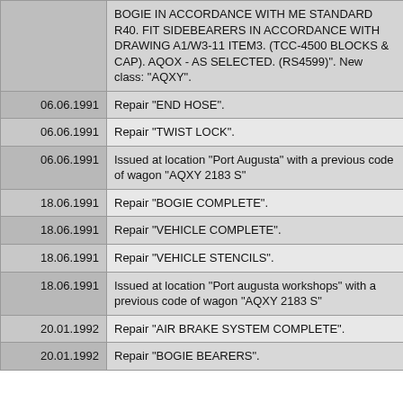| Date | Description |
| --- | --- |
|  | BOGIE IN ACCORDANCE WITH ME STANDARD R40. FIT SIDEBEARERS IN ACCORDANCE WITH DRAWING A1/W3-11 ITEM3. (TCC-4500 BLOCKS & CAP). AQOX - AS SELECTED. (RS4599)". New class: "AQXY". |
| 06.06.1991 | Repair "END HOSE". |
| 06.06.1991 | Repair "TWIST LOCK". |
| 06.06.1991 | Issued at location "Port Augusta" with a previous code of wagon "AQXY 2183 S" |
| 18.06.1991 | Repair "BOGIE COMPLETE". |
| 18.06.1991 | Repair "VEHICLE COMPLETE". |
| 18.06.1991 | Repair "VEHICLE STENCILS". |
| 18.06.1991 | Issued at location "Port augusta workshops" with a previous code of wagon "AQXY 2183 S" |
| 20.01.1992 | Repair "AIR BRAKE SYSTEM COMPLETE". |
| 20.01.1992 | Repair "BOGIE BEARERS". |